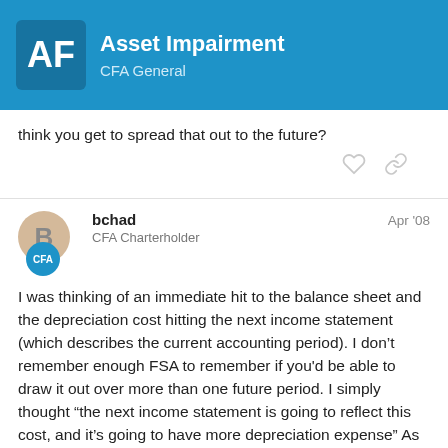Asset Impairment — CFA General
think you get to spread that out to the future?
bchad — Apr '08 — CFA Charterholder
I was thinking of an immediate hit to the balance sheet and the depreciation cost hitting the next income statement (which describes the current accounting period). I don't remember enough FSA to remember if you'd be able to draw it out over more than one future period. I simply thought "the next income statement is going to reflect this cost, and it's going to have more depreciation expense" As for an asset being impaired and written down, I did not think that it would have to be written down 100%. If it were completely impaired, you'd need to buy a new asset and that would need to... don't think profits would necessarily go up...